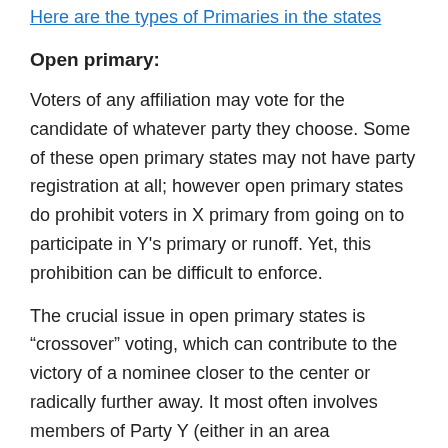Here are the types of Primaries in the states
Open primary:
Voters of any affiliation may vote for the candidate of whatever party they choose. Some of these open primary states may not have party registration at all; however open primary states do prohibit voters in X primary from going on to participate in Y’s primary or runoff. Yet, this prohibition can be difficult to enforce.
The crucial issue in open primary states is “crossover” voting, which can contribute to the victory of a nominee closer to the center or radically further away. It most often involves members of Party Y (either in an area dominated by Party X or when Party Y’s nominee is a foregone conclusion) voting for the Party X candidate whose views are the most reconciliable with their own. Though this